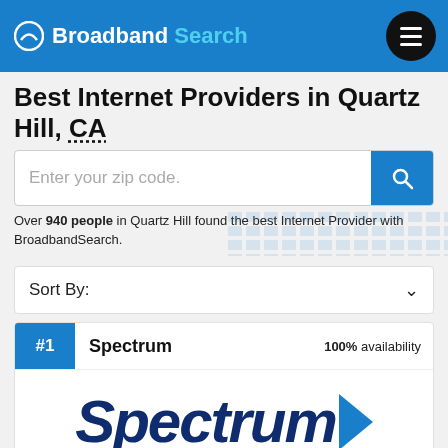Broadband Search
Best Internet Providers in Quartz Hill, CA
Enter your zip code.
Over 940 people in Quartz Hill found the best Internet Provider with BroadbandSearch.
Sort By:
#1  Spectrum  100% availability
[Figure (logo): Spectrum logo with blue italic text and blue arrow, with AUTHORIZED text below]